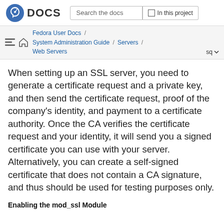DOCS  Search the docs  In this project
Fedora User Docs / System Administration Guide / Servers / Web Servers  sq
When setting up an SSL server, you need to generate a certificate request and a private key, and then send the certificate request, proof of the company's identity, and payment to a certificate authority. Once the CA verifies the certificate request and your identity, it will send you a signed certificate you can use with your server. Alternatively, you can create a self-signed certificate that does not contain a CA signature, and thus should be used for testing purposes only.
Enabling the mod_ssl Module